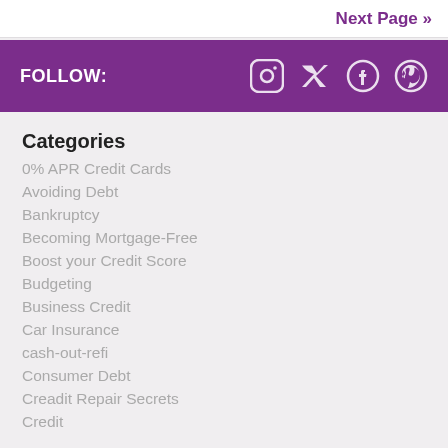Next Page »
FOLLOW:
Categories
0% APR Credit Cards
Avoiding Debt
Bankruptcy
Becoming Mortgage-Free
Boost your Credit Score
Budgeting
Business Credit
Car Insurance
cash-out-refi
Consumer Debt
Creadit Repair Secrets
Credit